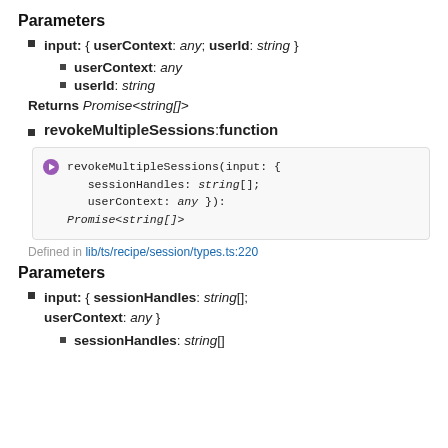Parameters
input: { userContext: any; userId: string }
userContext: any
userId: string
Returns Promise<string[]>
revokeMultipleSessions:function
[Figure (screenshot): Code block showing: revokeMultipleSessions(input: { sessionHandles: string[]; userContext: any }): Promise<string[]>]
Defined in lib/ts/recipe/session/types.ts:220
Parameters
input: { sessionHandles: string[]; userContext: any }
sessionHandles: string[]